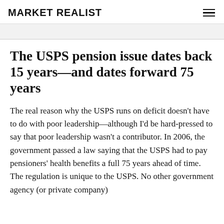MARKET REALIST
The USPS pension issue dates back 15 years—and dates forward 75 years
The real reason why the USPS runs on deficit doesn't have to do with poor leadership—although I'd be hard-pressed to say that poor leadership wasn't a contributor. In 2006, the government passed a law saying that the USPS had to pay pensioners' health benefits a full 75 years ahead of time. The regulation is unique to the USPS. No other government agency (or private company)